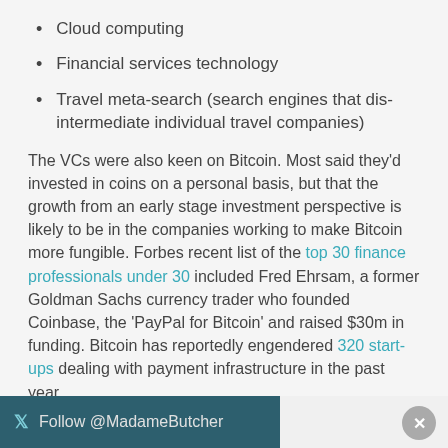Cloud computing
Financial services technology
Travel meta-search (search engines that dis-intermediate individual travel companies)
The VCs were also keen on Bitcoin. Most said they'd invested in coins on a personal basis, but that the growth from an early stage investment perspective is likely to be in the companies working to make Bitcoin more fungible. Forbes recent list of the top 30 finance professionals under 30 included Fred Ehrsam, a former Goldman Sachs currency trader who founded Coinbase, the 'PayPal for Bitcoin' and raised $30m in funding. Bitcoin has reportedly engendered 320 start-ups dealing with payment infrastructure in the past year.
Follow @MadameButcher